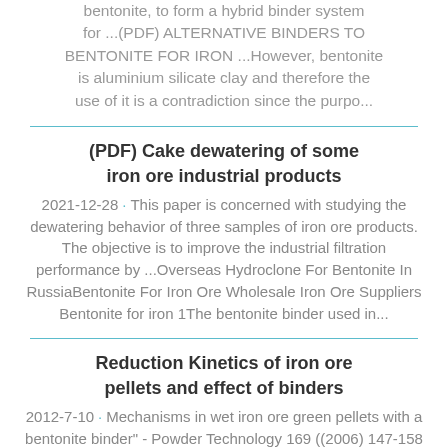bentonite, to form a hybrid binder system for ...(PDF) ALTERNATIVE BINDERS TO BENTONITE FOR IRON ...However, bentonite is aluminium silicate clay and therefore the use of it is a contradiction since the purpo...
(PDF) Cake dewatering of some iron ore industrial products
2021-12-28 · This paper is concerned with studying the dewatering behavior of three samples of iron ore products. The objective is to improve the industrial filtration performance by ...Overseas Hydroclone For Bentonite In RussiaBentonite For Iron Ore Wholesale Iron Ore Suppliers Bentonite for iron 1The bentonite binder used in...
Reduction Kinetics of iron ore pellets and effect of binders
2012-7-10 · Mechanisms in wet iron ore green pellets with a bentonite binder" - Powder Technology 169 ((2006) 147-158 2.